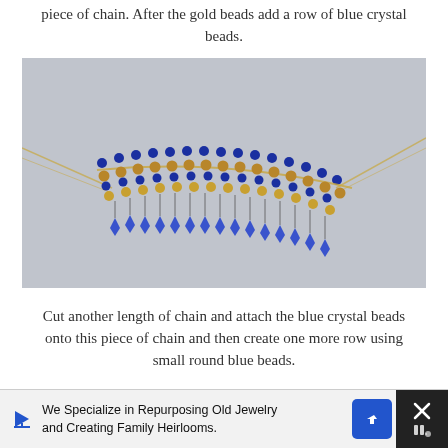piece of chain.  After the gold beads add a row of blue crystal beads.
[Figure (photo): Photo of a beaded necklace with rows of blue crystal beads, gold/bronze faceted beads, and gold chain. Blue crystal dangles hang from the bottom of the necklace against a gray background.]
Cut another length of chain and attach the blue crystal beads onto this piece of chain and then create one more row using small round blue beads.
[Figure (photo): Partial photo of jewelry with gold chain visible against a blue/gray background, partially cut off at the bottom of the page.]
We Specialize in Repurposing Old Jewelry and Creating Family Heirlooms.